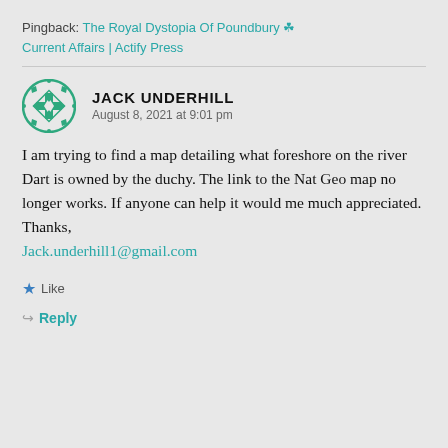Pingback: The Royal Dystopia Of Poundbury ☘ Current Affairs | Actify Press
[Figure (logo): Green ornamental badge/shield SVG icon representing user avatar for Jack Underhill]
JACK UNDERHILL
August 8, 2021 at 9:01 pm
I am trying to find a map detailing what foreshore on the river Dart is owned by the duchy. The link to the Nat Geo map no longer works. If anyone can help it would me much appreciated. Thanks,
Jack.underhill1@gmail.com
Like
Reply